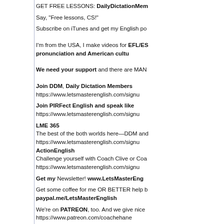GET FREE LESSONS: DailyDictationMem...
Say, "Free lessons, CS!"
Subscribe on iTunes and get my English po...
I'm from the USA, I make videos for EFL/ES... pronunciation and American cultu...
We need your support and there are MANY...
Join DDM, Daily Dictation Members... https://www.letsmasterenglish.com/signu...
Join PIRFect English and speak like... https://www.letsmasterenglish.com/signu...
LME 365
The best of the both worlds here—DDM and...
https://www.letsmasterenglish.com/signu...
ActionEnglish
Challenge yourself with Coach Clive or Coa...
https://www.letsmasterenglish.com/signu...
Get my Newsletter! www.LetsMasterEng...
Get some coffee for me OR BETTER help b... paypal.me/LetsMasterEnglish
We're on PATREON, too. And we give nice ...
https://www.patreon.com/coachehane...